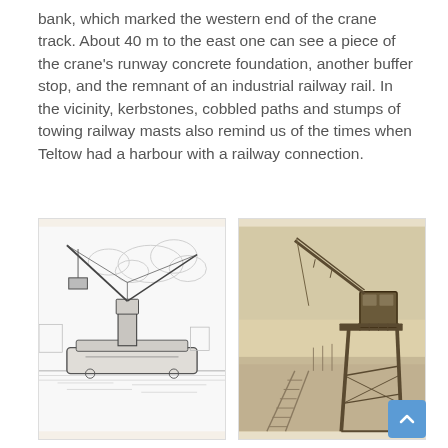bank, which marked the western end of the crane track. About 40 m to the east one can see a piece of the crane's runway concrete foundation, another buffer stop, and the remnant of an industrial railway rail. In the vicinity, kerbstones, cobbled paths and stumps of towing railway masts also remind us of the times when Teltow had a harbour with a railway connection.
[Figure (illustration): Black and white line drawing of a floating crane on water with industrial harbour background and cloudy sky.]
[Figure (photo): Sepia-toned photograph of a portal/gantry crane at a harbour, with railway tracks visible in the foreground and water in the background.]